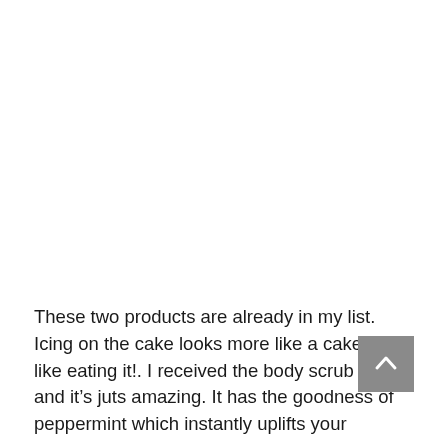These two products are already in my list. Icing on the cake looks more like a cake! Feel like eating it!. I received the body scrub bar and it's juts amazing. It has the goodness of peppermint which instantly uplifts your